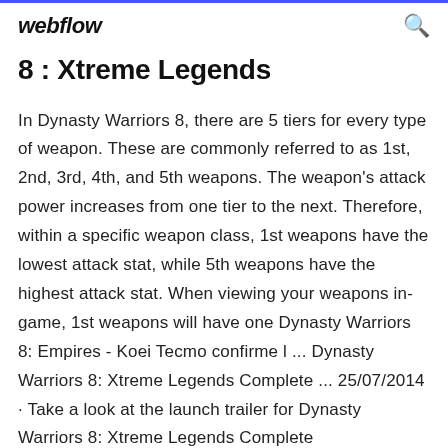webflow
8 : Xtreme Legends
In Dynasty Warriors 8, there are 5 tiers for every type of weapon. These are commonly referred to as 1st, 2nd, 3rd, 4th, and 5th weapons. The weapon's attack power increases from one tier to the next. Therefore, within a specific weapon class, 1st weapons have the lowest attack stat, while 5th weapons have the highest attack stat. When viewing your weapons in-game, 1st weapons will have one Dynasty Warriors 8: Empires - Koei Tecmo confirme l ... Dynasty Warriors 8: Xtreme Legends Complete ... 25/07/2014 · Take a look at the launch trailer for Dynasty Warriors 8: Xtreme Legends Complete